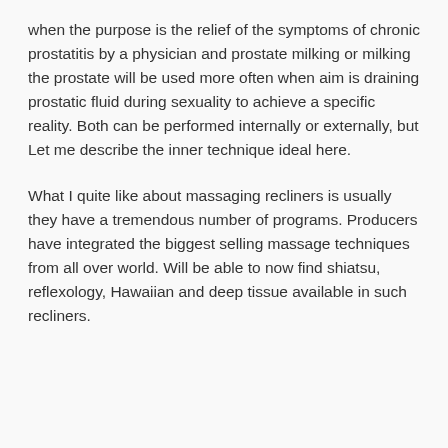when the purpose is the relief of the symptoms of chronic prostatitis by a physician and prostate milking or milking the prostate will be used more often when aim is draining prostatic fluid during sexuality to achieve a specific reality. Both can be performed internally or externally, but Let me describe the inner technique ideal here.
What I quite like about massaging recliners is usually they have a tremendous number of programs. Producers have integrated the biggest selling massage techniques from all over world. Will be able to now find shiatsu, reflexology, Hawaiian and deep tissue available in such recliners.